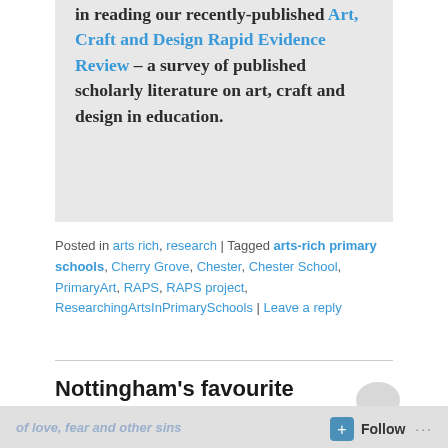in reading our recently-published Art, Craft and Design Rapid Evidence Review – a survey of published scholarly literature on art, craft and design in education.
Posted in arts rich, research | Tagged arts-rich primary schools, Cherry Grove, Chester, Chester School, PrimaryArt, RAPS, RAPS project, ResearchingArtsInPrimarySchools | Leave a reply
Nottingham's favourite
Follow ...